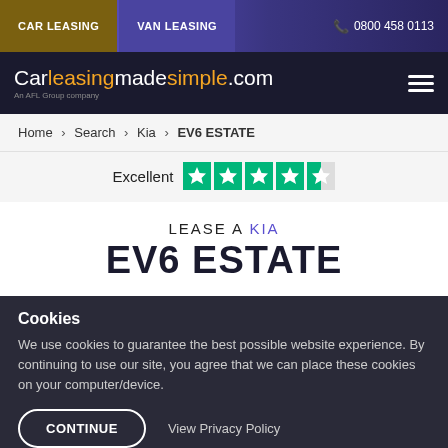CAR LEASING | VAN LEASING | 0800 458 0113
Carleasingmadesimple.com — An AFL Group company
Home > Search > Kia > EV6 ESTATE
Excellent [4.5 stars Trustpilot]
LEASE A KIA EV6 ESTATE
Cookies
We use cookies to guarantee the best possible website experience. By continuing to use our site, you agree that we can place these cookies on your computer/device.
CONTINUE | View Privacy Policy